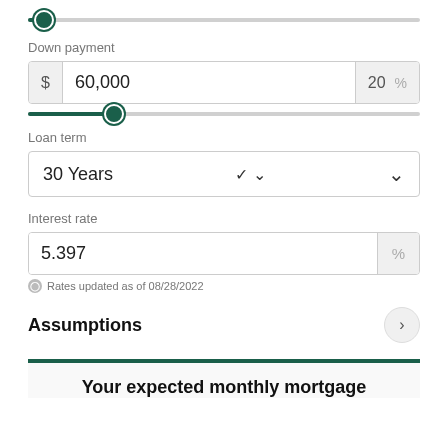[Figure (other): Horizontal slider at far left position (home price slider)]
Down payment
[Figure (other): Down payment input fields: $ 60,000 and 20 %]
[Figure (other): Horizontal slider at approximately 20% position (down payment slider)]
Loan term
[Figure (other): Loan term dropdown showing 30 Years with chevron]
Interest rate
[Figure (other): Interest rate input showing 5.397 with % suffix]
Rates updated as of 08/28/2022
Assumptions
Your expected monthly mortgage